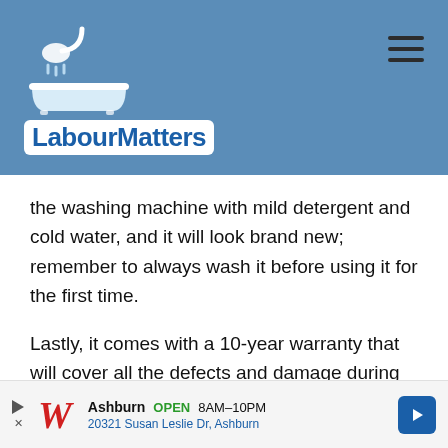[Figure (logo): LabourMatters website header with shower/bathtub icon logo and hamburger menu icon on blue background]
the washing machine with mild detergent and cold water, and it will look brand new; remember to always wash it before using it for the first time.
Lastly, it comes with a 10-year warranty that will cover all the defects and damage during operations. And if you aren't impressed with the non-slip bath mat for the elderly, you can always return it.
[Figure (infographic): Walgreens advertisement banner: Ashburn OPEN 8AM–10PM, 20321 Susan Leslie Dr, Ashburn with directional arrow icon]